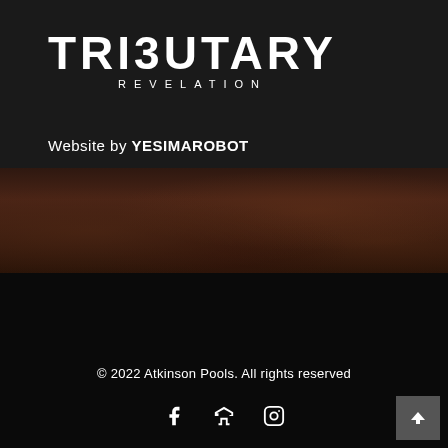[Figure (logo): TRIBUTARY REVELATION logo in white text on dark background]
Website by YESIMAROBOT
© 2022 Atkinson Pools. All rights reserved
[Figure (other): Social media icons: Facebook, Houzz, Instagram]
[Figure (other): Back to top button with upward arrow]